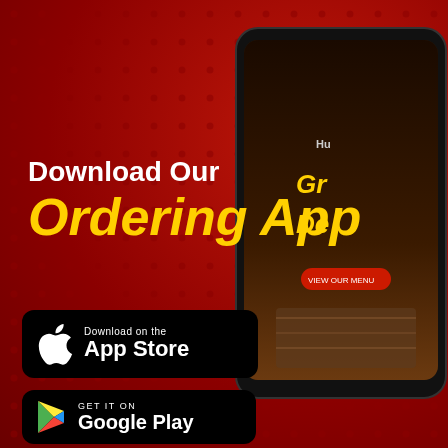[Figure (illustration): Red gradient background with dark dot pattern overlay and a smartphone showing a food delivery app screen on the right side]
Download Our Ordering App
[Figure (logo): Apple App Store download button: black rounded rectangle with Apple logo, text 'Download on the App Store']
[Figure (logo): Google Play download button: black rounded rectangle with Google Play triangle logo, text 'GET IT ON Google Play']